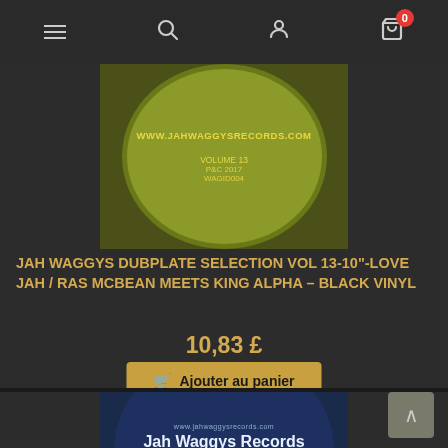Navigation bar with menu, search, user, and cart (0 items) icons
[Figure (photo): Yellow-green vinyl record label showing www.jahwaggysrecords.com, Volume 13, P&C 2017, WAGID004]
JAH WAGGYS DUBPLATE SELECTION VOL 13-10"-LOVE JAH / RAS MCBEAN MEETS KING ALPHA – BLACK VINYL
10,83 £
Ajouter au panier
[Figure (photo): Blue vinyl record label showing www.jahwaggysrecords.com, Jah Waggys Records, Dubplate Selection Vol.19, A Side, WA612009, 2001]